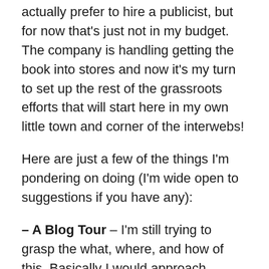actually prefer to hire a publicist, but for now that's just not in my budget. The company is handling getting the book into stores and now it's my turn to set up the rest of the grassroots efforts that will start here in my own little town and corner of the interwebs!
Here are just a few of the things I'm pondering on doing (I'm wide open to suggestions if you have any):
– A Blog Tour – I'm still trying to grasp the what, where, and how of this. Basically I would approach various blogs and see if they would mind featuring me or my book on their blog and post a schedule of each 'stop' that's planning a feature within a certain date range. Anyone